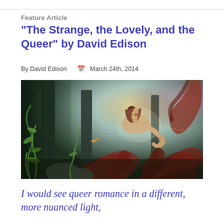Feature Article
“The Strange, the Lovely, and the Queer” by David Edison
By David Edison   📅  March 24th, 2014
[Figure (illustration): Fantasy digital painting showing a person (adventurer) with flowing hair in an underwater or otherworldly scene surrounded by large dark tentacles, glowing lights, seaweed, stone pillars, and warm atmospheric lighting in the background.]
I would see queer romance in a different, more nuanced light,